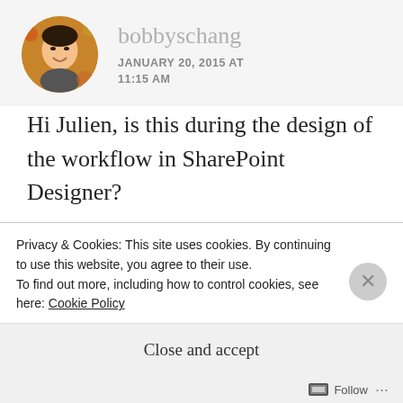[Figure (photo): Circular avatar photo of a smiling Asian man with autumn leaves in background]
bobbyschang
JANUARY 20, 2015 AT 11:15 AM
Hi Julien, is this during the design of the workflow in SharePoint Designer?
REPLY
[Figure (logo): Partial logo/avatar for Julien comment below]
Julien
Privacy & Cookies: This site uses cookies. By continuing to use this website, you agree to their use.
To find out more, including how to control cookies, see here: Cookie Policy
Close and accept